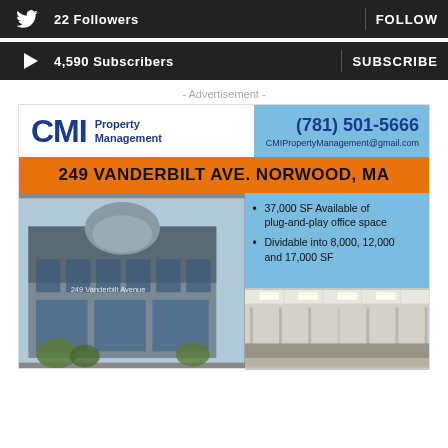22 Followers | FOLLOW
4,590 Subscribers | SUBSCRIBE
- Advertisement -
[Figure (infographic): CMI Property Management advertisement for 249 Vanderbilt Ave. Norwood, MA. Shows logo, phone (781) 501-5666, email CMIPropertyManagement@gmail.com, orange address banner, building exterior photo, features: 37,000 SF Available of plug-and-play office space; Dividable into 8,000, 12,000 and 17,000 SF, and interior office photo.]